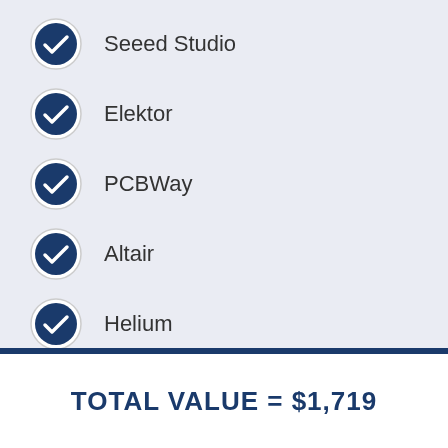Seeed Studio
Elektor
PCBWay
Altair
Helium
TOTAL VALUE = $1,719